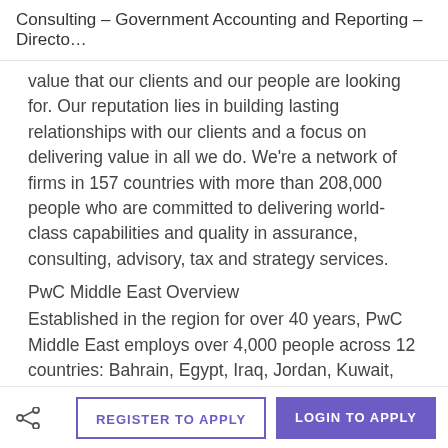Consulting – Government Accounting and Reporting – Directo…
value that our clients and our people are looking for. Our reputation lies in building lasting relationships with our clients and a focus on delivering value in all we do. We're a network of firms in 157 countries with more than 208,000 people who are committed to delivering world-class capabilities and quality in assurance, consulting, advisory, tax and strategy services.
PwC Middle East Overview
Established in the region for over 40 years, PwC Middle East employs over 4,000 people across 12 countries: Bahrain, Egypt, Iraq, Jordan, Kuwait, Lebanon, Libya, Oman, Qatar, Saudi Arabia, Palestine and the United Arab Emirates. Complementing our depth of industry expertise and breadth of skills is our sound knowledge of local